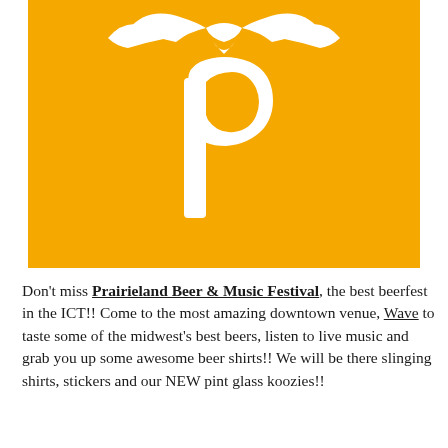[Figure (logo): Prairieland Beer & Music Festival logo: orange/amber square background with a large white lowercase 'p' and a white bird/prairie chicken silhouette above it]
Don't miss Prairieland Beer & Music Festival, the best beerfest in the ICT!! Come to the most amazing downtown venue, Wave to taste some of the midwest's best beers, listen to live music and grab you up some awesome beer shirts!! We will be there slinging shirts, stickers and our NEW pint glass koozies!!